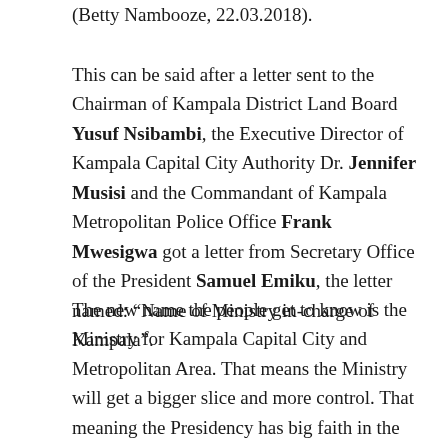(Betty Nambooze, 22.03.2018).
This can be said after a letter sent to the Chairman of Kampala District Land Board Yusuf Nsibambi, the Executive Director of Kampala Capital City Authority Dr. Jennifer Musisi and the Commandant of Kampala Metropolitan Police Office Frank Mwesigwa got a letter from Secretary Office of the President Samuel Emiku, the letter named: “Name of Ministry in-charge of Kampala”.
The new name the people get to know is the Ministry for Kampala Capital City and Metropolitan Area. That means the Ministry will get a bigger slice and more control. That meaning the Presidency has big faith in the acts of Beti Kamya, as her portefolio are now extending and also taking away from others. What you can also take from the